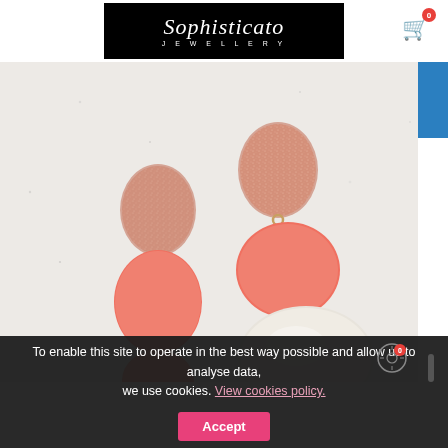Sophisticato Jewellery - logo and cart icon
[Figure (photo): Product photo of two dangling earrings with rose gold glitter tops, coral/pink middle pieces, and pearl/white teardrop bottoms connected with gold jump rings, photographed on a light speckled gray background.]
To enable this site to operate in the best way possible and allow us to analyse data, we use cookies. View cookies policy.
Accept